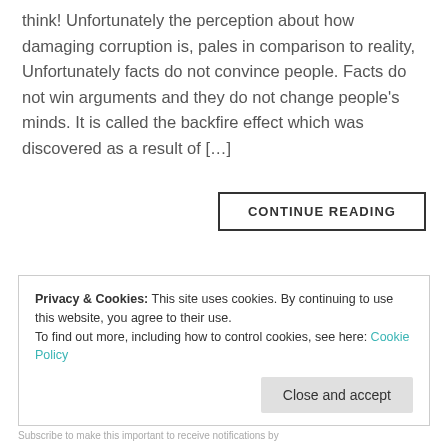think! Unfortunately the perception about how damaging corruption is, pales in comparison to reality, Unfortunately facts do not convince people. Facts do not win arguments and they do not change people's minds. It is called the backfire effect which was discovered as a result of […]
CONTINUE READING
Privacy & Cookies: This site uses cookies. By continuing to use this website, you agree to their use.
To find out more, including how to control cookies, see here: Cookie Policy
Close and accept
Subscribe to make this important to receive notifications by...